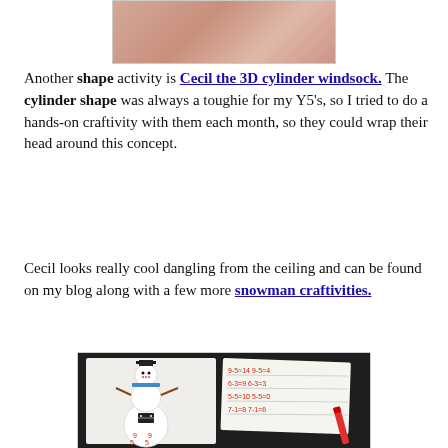[Figure (photo): Top portion of a photo showing pink paper craft materials]
Another shape activity is Cecil the 3D cylinder windsock. The cylinder shape was always a toughie for my Y5's, so I tried to do a hands-on craftivity with them each month, so they could wrap their head around this concept.
Cecil looks really cool dangling from the ceiling and can be found on my blog along with a few more snowman craftivities.
[Figure (photo): Photo of a snowman craft activity with math equations written on paper cards, including number sentences like 9-5=14, 6-3=9, 5-5=10, 7-1=8, and domino pieces on the snowman body]